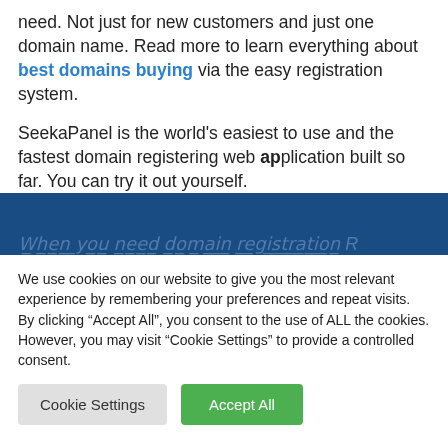need. Not just for new customers and just one domain name. Read more to learn everything about best domains buying via the easy registration system.
SeekaPanel is the world's easiest to use and the fastest domain registering web application built so far. You can try it out yourself.
[Figure (other): Dark blue banner section with partially visible italic text at the bottom edge]
We use cookies on our website to give you the most relevant experience by remembering your preferences and repeat visits. By clicking "Accept All", you consent to the use of ALL the cookies. However, you may visit "Cookie Settings" to provide a controlled consent.
Cookie Settings | Accept All